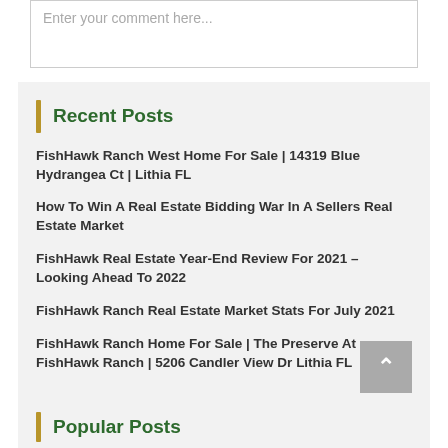Enter your comment here...
Recent Posts
FishHawk Ranch West Home For Sale | 14319 Blue Hydrangea Ct | Lithia FL
How To Win A Real Estate Bidding War In A Sellers Real Estate Market
FishHawk Real Estate Year-End Review For 2021 – Looking Ahead To 2022
FishHawk Ranch Real Estate Market Stats For July 2021
FishHawk Ranch Home For Sale | The Preserve At FishHawk Ranch | 5206 Candler View Dr Lithia FL
Popular Posts